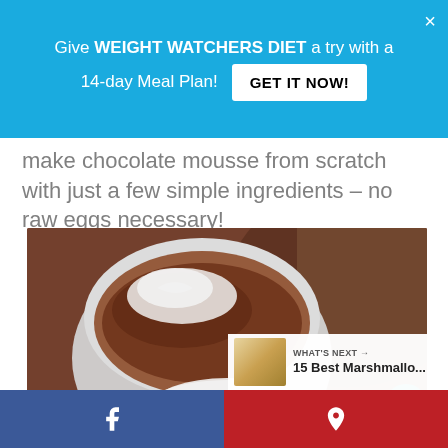Give WEIGHT WATCHERS DIET a try with a 14-day Meal Plan! GET IT NOW!
make chocolate mousse from scratch with just a few simple ingredients – no raw eggs necessary!
[Figure (photo): Close-up photo of chocolate mousse in a white ramekin dish topped with whipped cream, with another dessert topped with whipped cream in the foreground]
WHAT'S NEXT → 15 Best Marshmallo...
Facebook share button | Pinterest share button